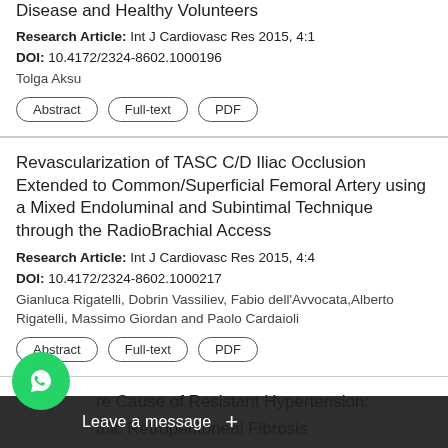Disease and Healthy Volunteers
Research Article: Int J Cardiovasc Res 2015, 4:1
DOI: 10.4172/2324-8602.1000196
Tolga Aksu
Revascularization of TASC C/D Iliac Occlusion Extended to Common/Superficial Femoral Artery using a Mixed Endoluminal and Subintimal Technique through the RadioBrachial Access
Research Article: Int J Cardiovasc Res 2015, 4:4
DOI: 10.4172/2324-8602.1000217
Gianluca Rigatelli, Dobrin Vassiliev, Fabio dell'Avvocata, Alberto Rigatelli, Massimo Giordan and Paolo Cardaioli
re Cause of Resistant Hypertension:
thic Retroperitoneal Fibrosis
Case ... 015, 4:4
DOI: